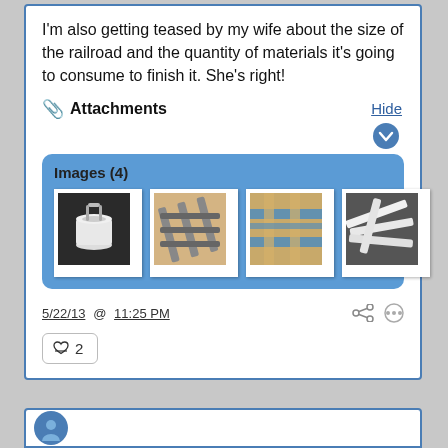I'm also getting teased by my wife about the size of the railroad and the quantity of materials it's going to consume to finish it. She's right!
📎 Attachments    Hide
[Figure (screenshot): Attachments panel showing Images (4) with four thumbnail photos of model railroad materials and a bucket]
5/22/13  @  11:25 PM
♥ 2